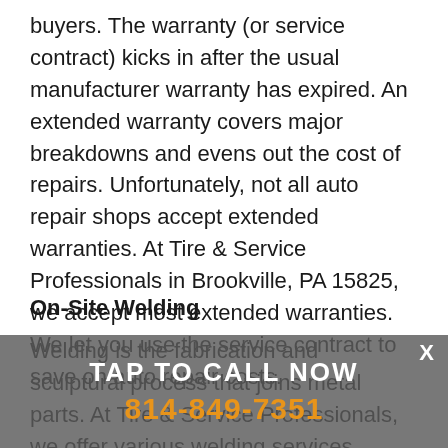buyers. The warranty (or service contract) kicks in after the usual manufacturer warranty has expired. An extended warranty covers major breakdowns and evens out the cost of repairs. Unfortunately, not all auto repair shops accept extended warranties. At Tire & Service Professionals in Brookville, PA 15825, we accept most extended warranties. We let you use the service contract to save on auto repair costs.
On-Site Welding
Welding is the fabrication and sculptural process that joins metal parts. At Tire & Service Professionals, we offer various welding services. Simply give us a call at 814-849-7351 or visit our shop in Brookville, PA
[Figure (other): Call-to-action overlay banner with gray background showing 'TAP TO CALL NOW' in white bold text and '814-849-7351' in orange bold text, with an X close button in the top right corner.]